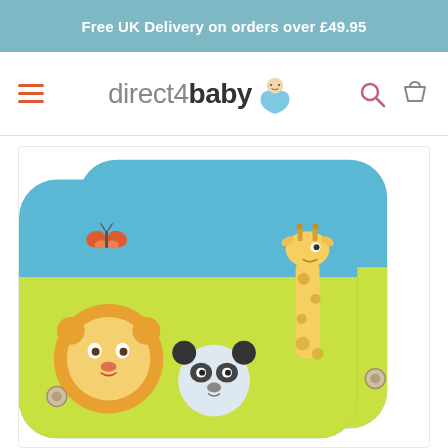Free UK Delivery on orders over £49.95
[Figure (logo): direct4baby logo with baby icon]
[Figure (photo): Two baby car window sun shades with colourful animal illustrations (lion, panda, giraffe, butterfly) on blue and yellow background with suction cups]